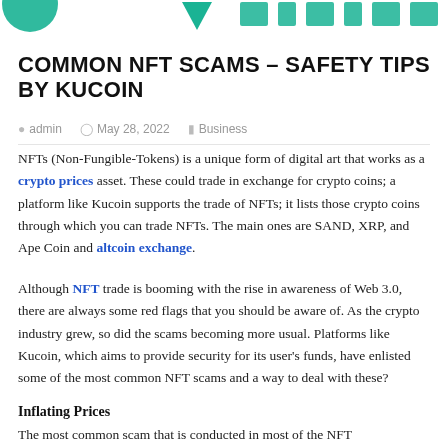[Figure (logo): Website logo with green triangle/arrow shapes at the top of the page]
COMMON NFT SCAMS – SAFETY TIPS BY KUCOIN
admin   May 28, 2022   Business
NFTs (Non-Fungible-Tokens) is a unique form of digital art that works as a crypto prices asset. These could trade in exchange for crypto coins; a platform like Kucoin supports the trade of NFTs; it lists those crypto coins through which you can trade NFTs. The main ones are SAND, XRP, and Ape Coin and altcoin exchange.
Although NFT trade is booming with the rise in awareness of Web 3.0, there are always some red flags that you should be aware of. As the crypto industry grew, so did the scams becoming more usual. Platforms like Kucoin, which aims to provide security for its user's funds, have enlisted some of the most common NFT scams and a way to deal with these?
Inflating Prices
The most common scam that is conducted in most of the NFT